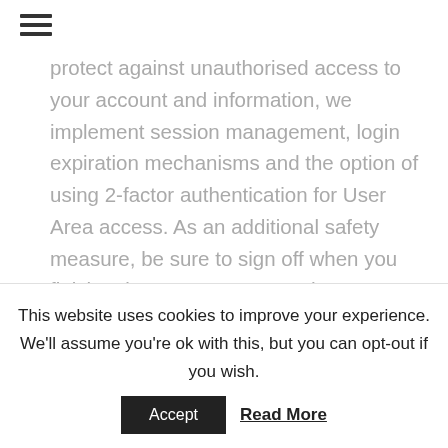≡
protect against unauthorised access to your account and information, we implement session management, login expiration mechanisms and the option of using 2-factor authentication for User Area access. As an additional safety measure, be sure to sign off when you finish using your account and your computer. Although we take all these measures to maintain the safety and security
This website uses cookies to improve your experience. We'll assume you're ok with this, but you can opt-out if you wish.
Accept
Read More